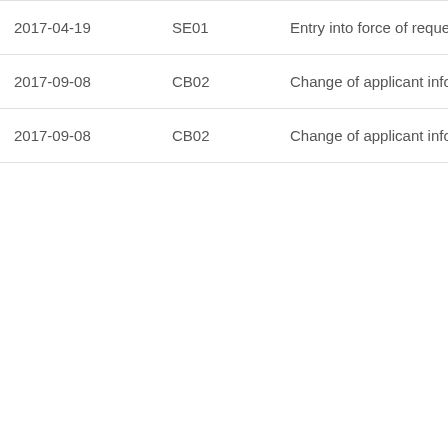| 2017-04-19 | SE01 | Entry into force of request for substantive exa |
| 2017-09-08 | CB02 | Change of applicant information |
| 2017-09-08 | CB02 | Change of applicant information |